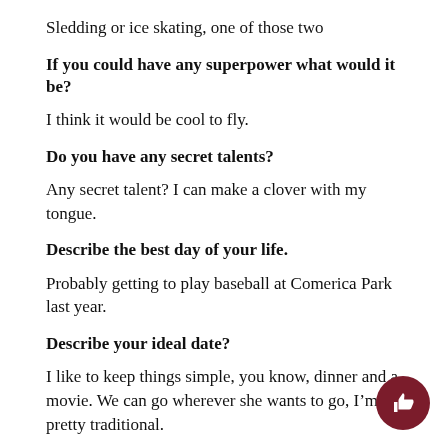Sledding or ice skating, one of those two
If you could have any superpower what would it be?
I think it would be cool to fly.
Do you have any secret talents?
Any secret talent? I can make a clover with my tongue.
Describe the best day of your life.
Probably getting to play baseball at Comerica Park last year.
Describe your ideal date?
I like to keep things simple, you know, dinner and a movie. We can go wherever she wants to go, I’m pretty traditional.
Harry Potter or Lord of the Rings?